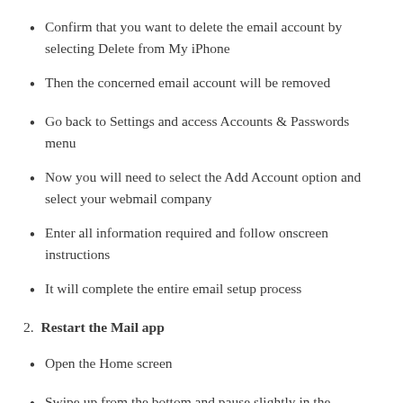Confirm that you want to delete the email account by selecting Delete from My iPhone
Then the concerned email account will be removed
Go back to Settings and access Accounts & Passwords menu
Now you will need to select the Add Account option and select your webmail company
Enter all information required and follow onscreen instructions
It will complete the entire email setup process
2. Restart the Mail app
Open the Home screen
Swipe up from the bottom and pause slightly in the